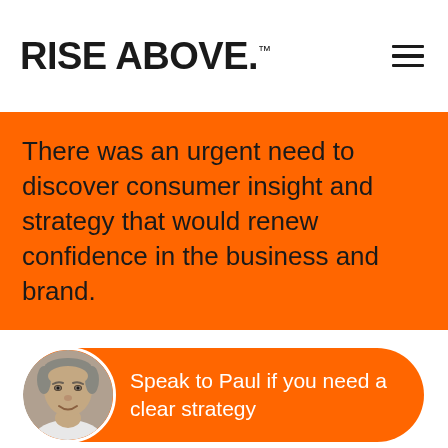RISE ABOVE.™
There was an urgent need to discover consumer insight and strategy that would renew confidence in the business and brand.
[Figure (photo): Circular portrait photo of a man (Paul) with grey hair, smiling, on an orange rounded-rectangle CTA button reading 'Speak to Paul if you need a clear strategy']
Speak to Paul if you need a clear strategy